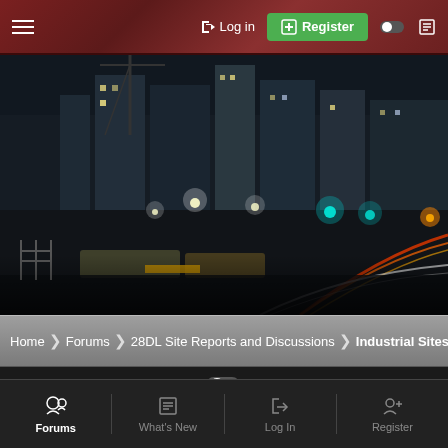≡  → Log in  [+] Register  ● ▣
[Figure (photo): Night-time cityscape with railway lines, light trails from trains in red/yellow/white, city buildings and cranes in background, street lamps glowing]
Home › Forums › 28DL Site Reports and Discussions › Industrial Sites
● Contact us  Privacy policy  Help  Home  [RSS]
Forums  What's New  Log In  Register